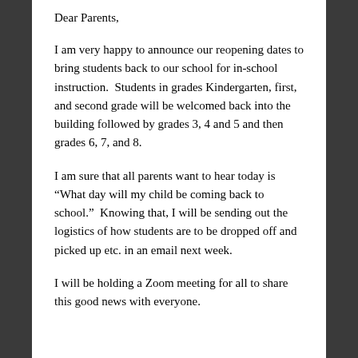Dear Parents,
I am very happy to announce our reopening dates to bring students back to our school for in-school instruction.  Students in grades Kindergarten, first, and second grade will be welcomed back into the building followed by grades 3, 4 and 5 and then grades 6, 7, and 8.
I am sure that all parents want to hear today is “What day will my child be coming back to school.”  Knowing that, I will be sending out the logistics of how students are to be dropped off and picked up etc. in an email next week.
I will be holding a Zoom meeting for all to share this good news with everyone.